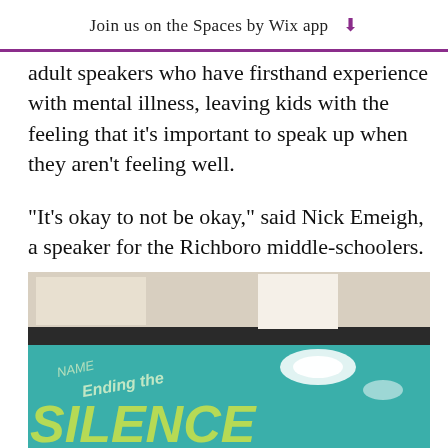Join us on the Spaces by Wix app ↓
adult speakers who have firsthand experience with mental illness, leaving kids with the feeling that it's important to speak up when they aren't feeling well.
“It’s okay to not be okay,” said Nick Emeigh, a speaker for the Richboro middle-schoolers.
[Figure (photo): A teal/cyan chalkboard or table surface with chalk writing that reads 'NAME Ending the SILENCE', photographed from below with ceiling lights visible above.]